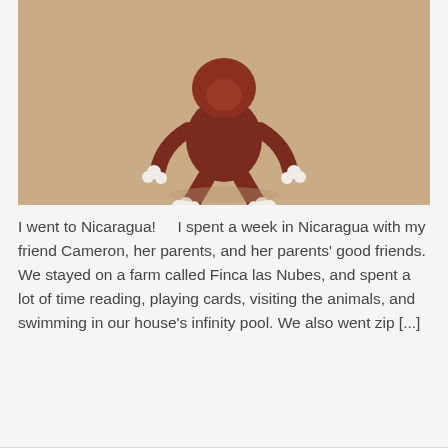[Figure (photo): A clay or ceramic figurine of a small monkey-like creature with a dark reddish-brown body and white fingertips/toenails, sitting on a light beige/tan surface, viewed from above.]
I went to Nicaragua!     I spent a week in Nicaragua with my friend Cameron, her parents, and her parents' good friends. We stayed on a farm called Finca las Nubes, and spent a lot of time reading, playing cards, visiting the animals, and swimming in our house's infinity pool. We also went zip [...]